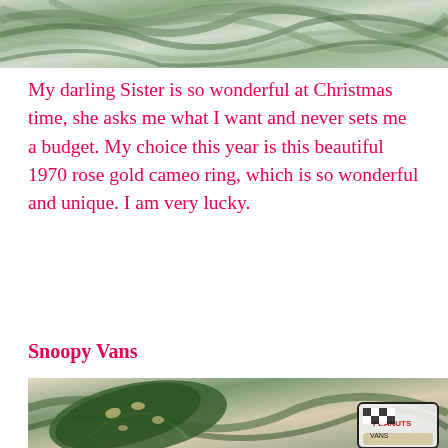[Figure (photo): Top portion of a marbled green and white swirling pattern, appears to be marbled paper or paint]
My darling Sister is so wonderful at Christmas time, she asks me what I want and never sets me a budget. My choice this year is this beautiful 1970 rose gold cameo ring, which is so wonderful and unique. I am very lucky.
Snoopy Vans
[Figure (photo): Photo showing a green spotted tropical leaf (aglaonema or similar) on a marbled green and cream background, with Vans Peanuts Snoopy edition checkered sneakers visible in the bottom right corner]